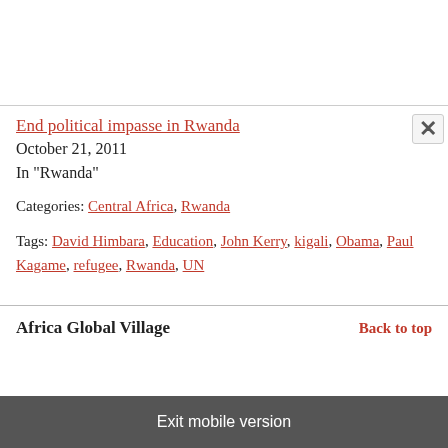End political impasse in Rwanda
October 21, 2011
In "Rwanda"
Categories: Central Africa, Rwanda
Tags: David Himbara, Education, John Kerry, kigali, Obama, Paul Kagame, refugee, Rwanda, UN
Africa Global Village
Back to top
Exit mobile version